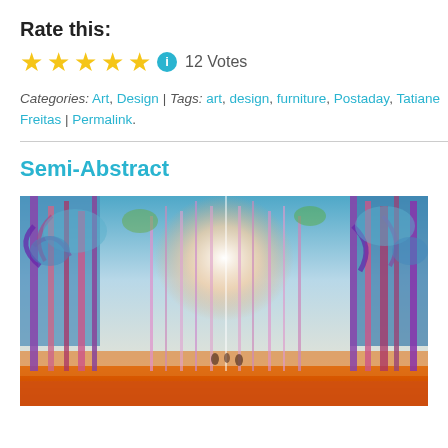Rate this:
★★★★★ ⓘ 12 Votes
Categories: Art, Design | Tags: art, design, furniture, Postaday, Tatiane Freitas | Permalink.
Semi-Abstract
[Figure (illustration): Semi-abstract painting of a colorful forest scene with tall trees rendered in pink, purple, blue, and orange hues with a bright glowing center]